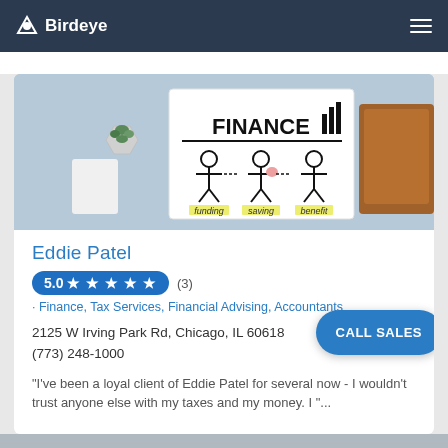Birdeye
[Figure (photo): Photo showing a whiteboard with 'FINANCE' written on it, with stick figures labeled 'funding', 'saving', 'benefit', alongside a small plant, white box, and brown leather wallet on a grey surface.]
Eddie Patel
5.0 ★ ★ ★ ★ ★ (3)
· Finance, Tax Services, Financial Advising, Accountants
2125 W Irving Park Rd, Chicago, IL 60618
(773) 248-1000
"I've been a loyal client of Eddie Patel for several now - I wouldn't trust anyone else with my taxes and my money. I "...